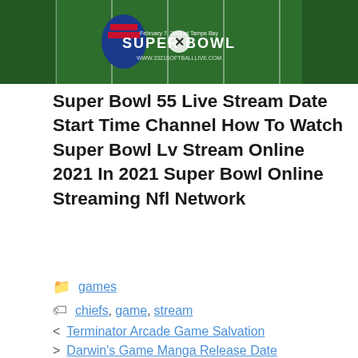[Figure (photo): Super Bowl LV promotional image showing football field with Super Bowl logo and text 'February 7, 2021 at Tampa Bay', 'SUPER BOWL', 'www.3321softball live.com']
Super Bowl 55 Live Stream Date Start Time Channel How To Watch Super Bowl Lv Stream Online 2021 In 2021 Super Bowl Online Streaming Nfl Network
games
chiefs, game, stream
Terminator Arcade Game Salvation
Darwin's Game Manga Release Date
Leave a Comment